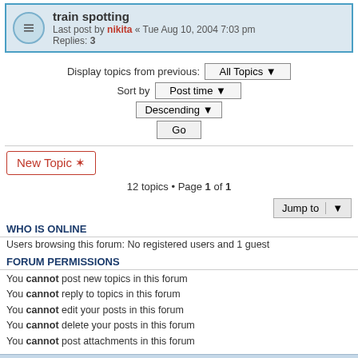train spotting — Last post by nikita « Tue Aug 10, 2004 7:03 pm — Replies: 3
Display topics from previous: All Topics ▼
Sort by Post time ▼
Descending ▼
Go
New Topic ✱
12 topics • Page 1 of 1
Jump to ▼
WHO IS ONLINE
Users browsing this forum: No registered users and 1 guest
FORUM PERMISSIONS
You cannot post new topics in this forum
You cannot reply to topics in this forum
You cannot edit your posts in this forum
You cannot delete your posts in this forum
You cannot post attachments in this forum
Home · Board index | Contact us  The team  ≡
Powered by phpBB® Forum Software © phpBB Limited